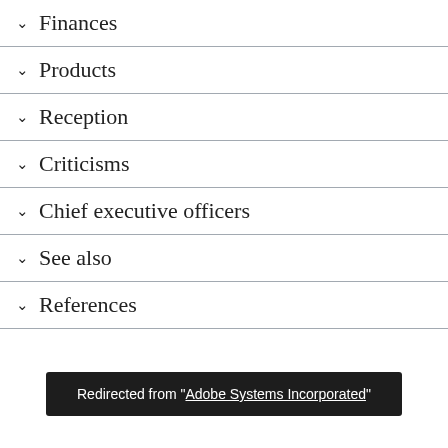Finances
Products
Reception
Criticisms
Chief executive officers
See also
References
Redirected from "Adobe Systems Incorporated"